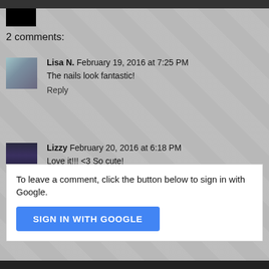2 comments:
Lisa N. February 19, 2016 at 7:25 PM
The nails look fantastic!
Reply
Lizzy February 20, 2016 at 6:18 PM
Love it!!! <3 So cute!
Reply
To leave a comment, click the button below to sign in with Google.
SIGN IN WITH GOOGLE